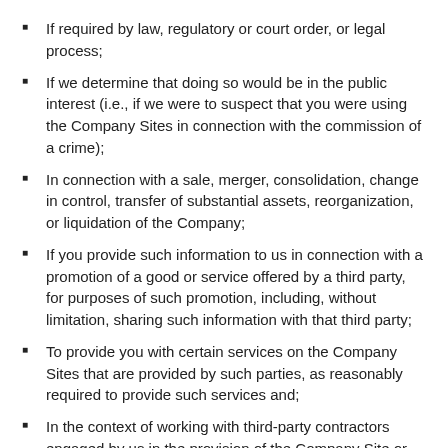If required by law, regulatory or court order, or legal process;
If we determine that doing so would be in the public interest (i.e., if we were to suspect that you were using the Company Sites in connection with the commission of a crime);
In connection with a sale, merger, consolidation, change in control, transfer of substantial assets, reorganization, or liquidation of the Company;
If you provide such information to us in connection with a promotion of a good or service offered by a third party, for purposes of such promotion, including, without limitation, sharing such information with that third party;
To provide you with certain services on the Company Sites that are provided by such parties, as reasonably required to provide such services and;
In the context of working with third-party contractors engaged by us in the provision of the Company Site or related matters.
After we or third-parties acting on our behalf disclose your Personal Information to unaffiliated third parties in such instances, we can no longer control the use or further disclosure of your Personal